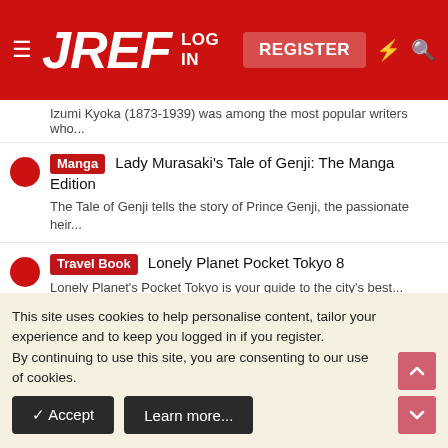JREF — LOG IN | REGISTER
Izumi Kyoka (1873-1939) was among the most popular writers who...
[Manga] Lady Murasaki's Tale of Genji: The Manga Edition — The Tale of Genji tells the story of Prince Genji, the passionate heir...
[Travel Book] Lonely Planet Pocket Tokyo 8 — Lonely Planet's Pocket Tokyo is your guide to the city's best...
[History] A Curious Madness — A Curious Madness: An American Combat Psychiatrist, a Japanese War...
SHARE THIS ITEM
This site uses cookies to help personalise content, tailor your experience and to keep you logged in if you register.
By continuing to use this site, you are consenting to our use of cookies.